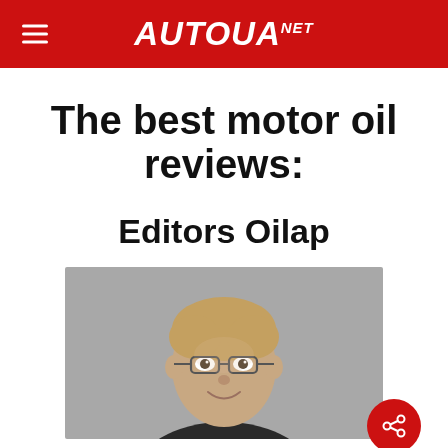AUTOUA NET
The best motor oil reviews:
Editors Oilap
[Figure (photo): Portrait photo of a young man with glasses, smiling, against a gray background]